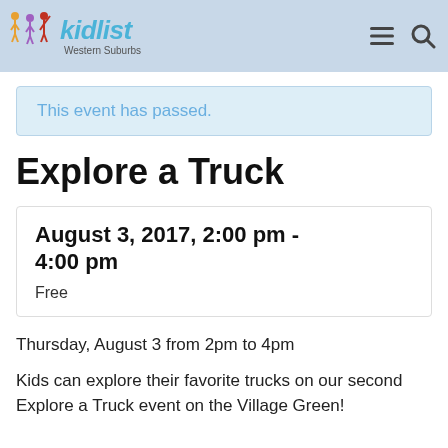kidlist Western Suburbs
This event has passed.
Explore a Truck
August 3, 2017, 2:00 pm - 4:00 pm
Free
Thursday, August 3 from 2pm to 4pm
Kids can explore their favorite trucks on our second Explore a Truck event on the Village Green!